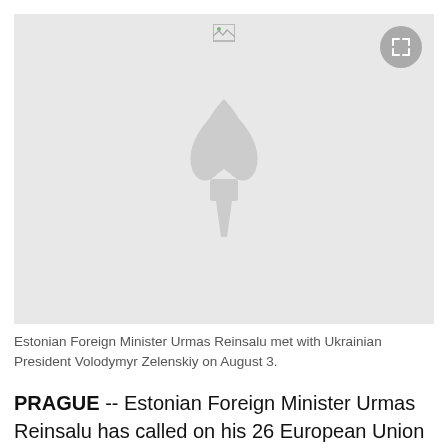[Figure (photo): Placeholder image with RFE/RL torch logo watermark on light gray background, with expand button in top right corner]
Estonian Foreign Minister Urmas Reinsalu met with Ukrainian President Volodymyr Zelenskiy on August 3.
PRAGUE -- Estonian Foreign Minister Urmas Reinsalu has called on his 26 European Union counterparts to ban tourist visas to Russians over the war in Ukraine, saying failing to take such a strong measure was to compromise "with